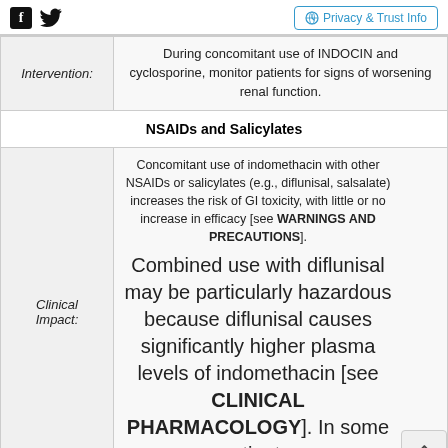Facebook icon, Twitter icon | Privacy & Trust Info
|  |  |
| --- | --- |
| Intervention: | During concomitant use of INDOCIN and cyclosporine, monitor patients for signs of worsening renal function. |
| NSAIDs and Salicylates |  |
| Clinical Impact: | Concomitant use of indomethacin with other NSAIDs or salicylates (e.g., diflunisal, salsalate) increases the risk of GI toxicity, with little or no increase in efficacy [see WARNINGS AND PRECAUTIONS].

Combined use with diflunisal may be particularly hazardous because diflunisal causes significantly higher plasma levels of indomethacin [see CLINICAL PHARMACOLOGY]. In some patients, |
ADVERTISEMENT
[Figure (infographic): WebMD Symptom Checker advertisement banner: 'Tell us where it hurts.' with Check Your Symptoms button]